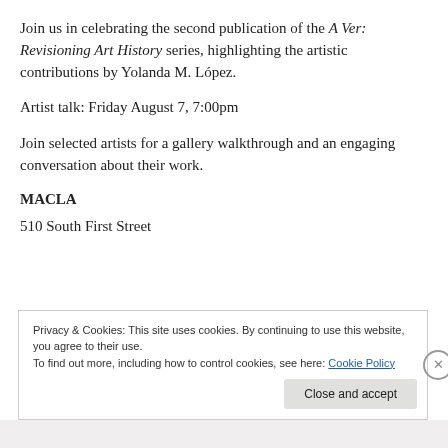Join us in celebrating the second publication of the A Ver: Revisioning Art History series, highlighting the artistic contributions by Yolanda M. López.
Artist talk: Friday August 7, 7:00pm
Join selected artists for a gallery walkthrough and an engaging conversation about their work.
MACLA
510 South First Street
Privacy & Cookies: This site uses cookies. By continuing to use this website, you agree to their use.
To find out more, including how to control cookies, see here: Cookie Policy
Close and accept